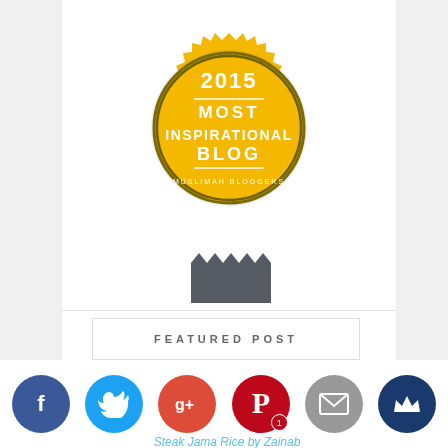[Figure (illustration): Gold badge award graphic reading '2015 MOST INSPIRATIONAL BLOG - MUSLIMAH BLOGGERS' with a gear/sun-ray border and a dark gray ribbon/banner hanging below]
FEATURED POST
[Figure (illustration): Social media share icons row: Facebook (blue), Twitter (light blue), Google+ (red-orange), Pinterest (dark red with '1' badge), Email (gray), Crown/Bloglovin (dark blue)]
Steak Jama Rice by Zainab